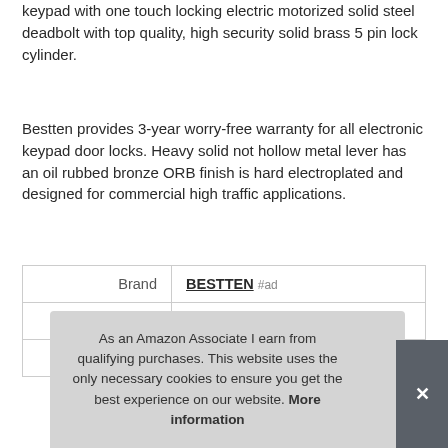keypad with one touch locking electric motorized solid steel deadbolt with top quality, high security solid brass 5 pin lock cylinder.
Bestten provides 3-year worry-free warranty for all electronic keypad door locks. Heavy solid not hollow metal lever has an oil rubbed bronze ORB finish is hard electroplated and designed for commercial high traffic applications.
|  |  |
| --- | --- |
| Brand | BESTTEN #ad |
| Manufacturer | BESTTEN #ad |
| Part Number | DD2-L-ORB |
As an Amazon Associate I earn from qualifying purchases. This website uses the only necessary cookies to ensure you get the best experience on our website. More information